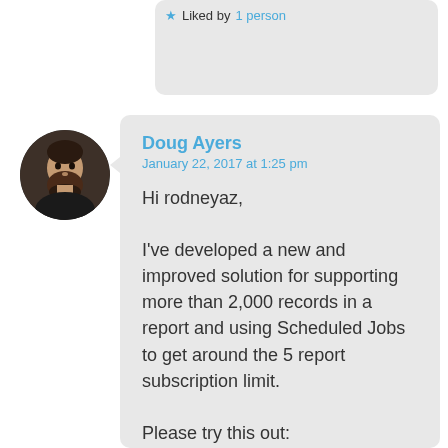★ Liked by 1 person
[Figure (photo): Circular avatar photo of a bearded man with dark hair against a dark background]
Doug Ayers
January 22, 2017 at 1:25 pm

Hi rodneyaz,

I've developed a new and improved solution for supporting more than 2,000 records in a report and using Scheduled Jobs to get around the 5 report subscription limit.

Please try this out:
https://douglascayers.com/2017/01/